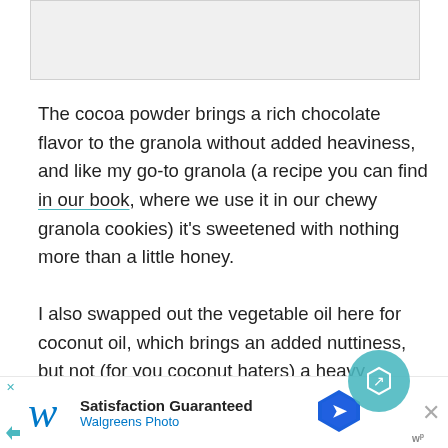[Figure (photo): Partial image visible at top of page, appears to be a food photo (granola)]
The cocoa powder brings a rich chocolate flavor to the granola without added heaviness, and like my go-to granola (a recipe you can find in our book, where we use it in our chewy granola cookies) it's sweetened with nothing more than a little honey.
I also swapped out the vegetable oil here for coconut oil, which brings an added nuttiness, but not (for you coconut haters) a heavy coconut flavor. It's the chocolate and almond that take center stage he... pl...
[Figure (screenshot): Walgreens Photo advertisement banner at bottom of page. Shows Walgreens logo, 'Satisfaction Guaranteed' text, 'Walgreens Photo' subtitle, a blue navigation sign icon, a teal circle with arrow icon, and an X close button.]